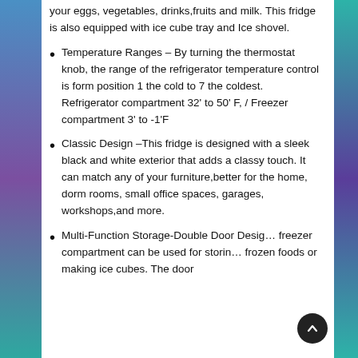your eggs, vegetables, drinks,fruits and milk. This fridge is also equipped with ice cube tray and Ice shovel.
Temperature Ranges – By turning the thermostat knob, the range of the refrigerator temperature control is form position 1 the cold to 7 the coldest. Refrigerator compartment 32' to 50' F, / Freezer compartment 3' to -1'F
Classic Design –This fridge is designed with a sleek black and white exterior that adds a classy touch. It can match any of your furniture,better for the home, dorm rooms, small office spaces, garages, workshops,and more.
Multi-Function Storage-Double Door Design, freezer compartment can be used for storing frozen foods or making ice cubes. The door…